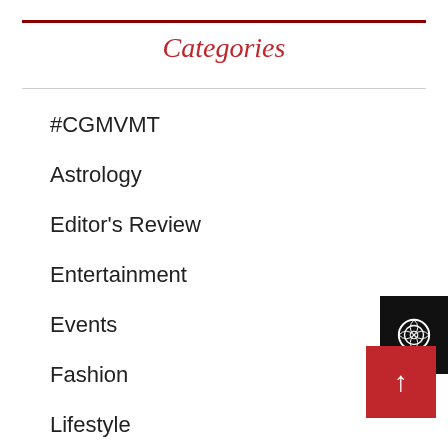Categories
#CGMVMT
Astrology
Editor's Review
Entertainment
Events
Fashion
Lifestyle
Local
Money